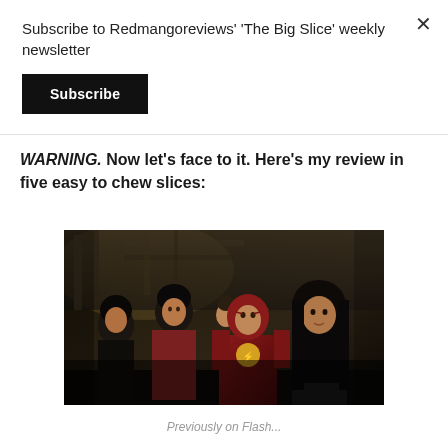Subscribe to Redmangoreviews' 'The Big Slice' weekly newsletter
Subscribe
WARNING. Now let's face to it. Here's my review in five easy to chew slices:
[Figure (photo): Group of characters from The Flash TV show, including a person in the Flash superhero suit, standing together in a dimly lit industrial setting]
Previously on Flash...